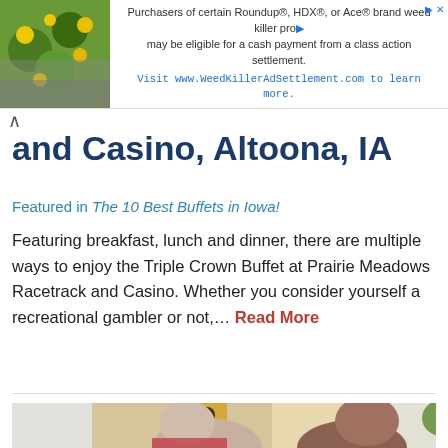[Figure (other): Advertisement banner with plant/flower image on left and text about Roundup weed killer class action settlement on right]
and Casino, Altoona, IA
Featured in The 10 Best Buffets in Iowa!
Featuring breakfast, lunch and dinner, there are multiple ways to enjoy the Triple Crown Buffet at Prairie Meadows Racetrack and Casino. Whether you consider yourself a recreational gambler or not,… Read More
[Figure (photo): Photo of a young man and woman smiling, sitting at a table in a restaurant setting with plants and decorative elements in background]